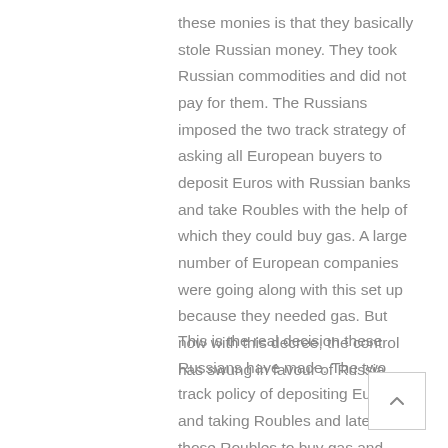these monies is that they basically stole Russian money. They took Russian commodities and did not pay for them. The Russians imposed the two track strategy of asking all European buyers to deposit Euros with Russian banks and take Roubles with the help of which they could buy gas. A large number of European companies were going along with this set up because they needed gas. But now with this decree, the control has swung in favour of Russia.
This is the real decision these Russians have made. The two track policy of depositing Euros and taking Roubles and later using those Roubles to buy gas and other commodities from Russian companies